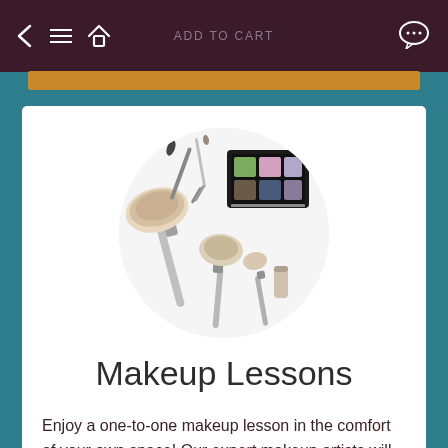ADD TO CART
[Figure (photo): Circular cropped photo showing makeup brushes and an eyeshadow palette arranged on a white background]
Makeup Lessons
Enjoy a one-to-one makeup lesson in the comfort of your own space! Our expert makeup artists will create a special makeup look tailored to you, and..